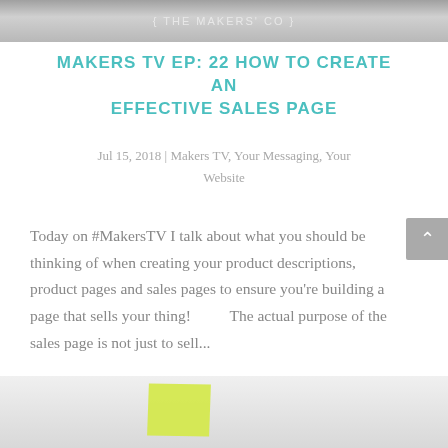[Figure (photo): Top partial image of The Makers Co logo/branding, gray toned photograph with text { THE MAKERS CO } visible]
MAKERS TV EP: 22 HOW TO CREATE AN EFFECTIVE SALES PAGE
Jul 15, 2018 | Makers TV, Your Messaging, Your Website
Today on #MakersTV I talk about what you should be thinking of when creating your product descriptions, product pages and sales pages to ensure you're building a page that sells your thing!        The actual purpose of the sales page is not just to sell...
[Figure (photo): Bottom partial image showing a desk/workspace with a yellow sticky note and papers, partially cropped]